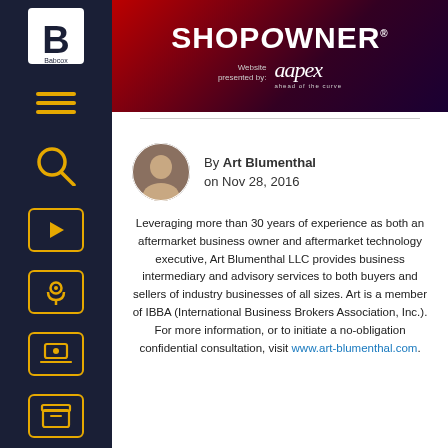[Figure (logo): ShopOwner magazine logo with AAPEX 'ahead of the curve' presented by tagline on dark red/purple gradient banner header]
[Figure (photo): Circular headshot photo of Art Blumenthal]
By Art Blumenthal
on Nov 28, 2016
Leveraging more than 30 years of experience as both an aftermarket business owner and aftermarket technology executive, Art Blumenthal LLC provides business intermediary and advisory services to both buyers and sellers of industry businesses of all sizes. Art is a member of IBBA (International Business Brokers Association, Inc.). For more information, or to initiate a no-obligation confidential consultation, visit www.art-blumenthal.com.
[Figure (logo): Babcox logo (B) in top left of sidebar]
[Figure (infographic): Dark navy sidebar with Babcox B logo and yellow outlined icons: hamburger menu, search, play button, podcast/microphone, webcast/laptop, archive box, garage/building]